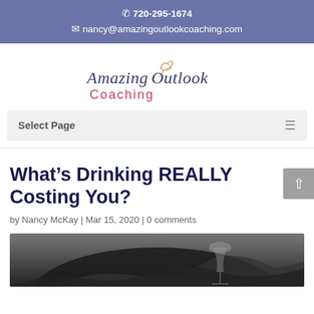720-295-1674
nancy@amazingoutlookcoaching.com
[Figure (logo): Amazing Outlook Coaching logo with stylized script text and a small bird illustration]
Select Page
What’s Drinking REALLY Costing You?
by Nancy McKay | Mar 15, 2020 | 0 comments
[Figure (photo): Black and white photo showing a woman with long hair and a wine glass]